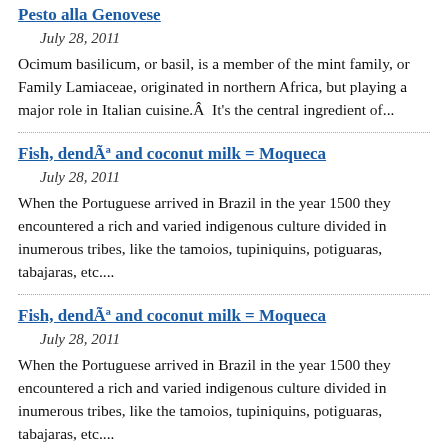Pesto alla Genovese
July 28, 2011
Ocimum basilicum, or basil, is a member of the mint family, or Family Lamiaceae, originated in northern Africa, but playing a major role in Italian cuisine.Â  It's the central ingredient of...
Fish, dendÃª and coconut milk = Moqueca
July 28, 2011
When the Portuguese arrived in Brazil in the year 1500 they encountered a rich and varied indigenous culture divided in inumerous tribes, like the tamoios, tupiniquins, potiguaras, tabajaras, etc....
Fish, dendÃª and coconut milk = Moqueca
July 28, 2011
When the Portuguese arrived in Brazil in the year 1500 they encountered a rich and varied indigenous culture divided in inumerous tribes, like the tamoios, tupiniquins, potiguaras, tabajaras, etc....